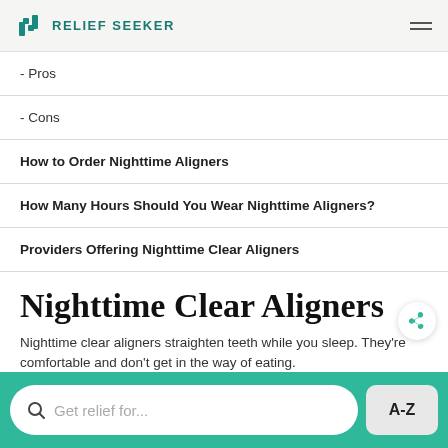RELIEF SEEKER
- Pros
- Cons
How to Order Nighttime Aligners
How Many Hours Should You Wear Nighttime Aligners?
Providers Offering Nighttime Clear Aligners
Nighttime Clear Aligners
Nighttime clear aligners straighten teeth while you sleep. They're comfortable and don't get in the way of eating.